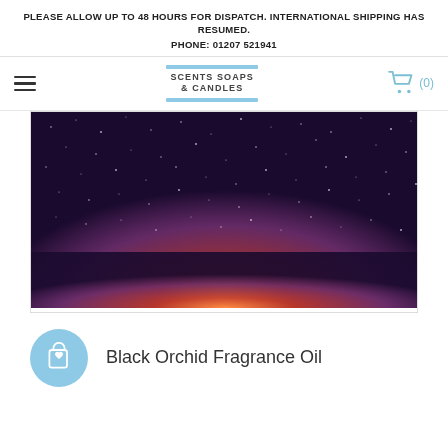PLEASE ALLOW UP TO 48 HOURS FOR DISPATCH. INTERNATIONAL SHIPPING HAS RESUMED.
PHONE: 01207 521941
[Figure (logo): Scents Soaps & Candles logo with light blue bars above and below the text]
[Figure (photo): Night sky photograph showing a deep purple/dark sky filled with stars transitioning to a warm orange/red glow near the horizon]
[Figure (illustration): Light blue circular button with a shopping bag and heart icon (wishlist/add to favorites button)]
Black Orchid Fragrance Oil